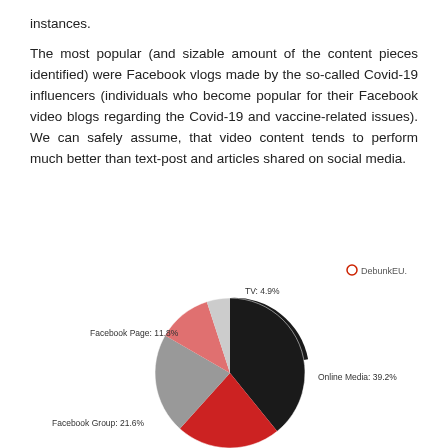instances.
The most popular (and sizable amount of the content pieces identified) were Facebook vlogs made by the so-called Covid-19 influencers (individuals who become popular for their Facebook video blogs regarding the Covid-19 and vaccine-related issues). We can safely assume, that video content tends to perform much better than text-post and articles shared on social media.
[Figure (pie-chart): ]